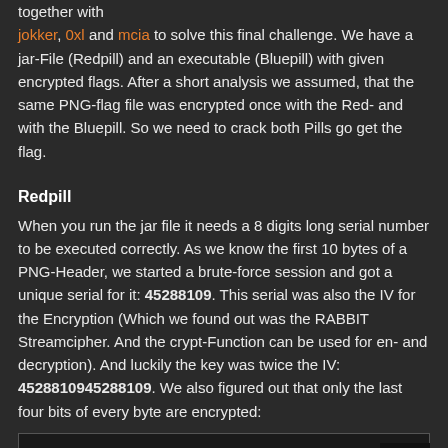together with jokker, 0xl and mcia to solve this final challenge. We have a jar-File (Redpill) and an executable (Bluepill) with given encrypted flags. After a short analysis we assumed, that the same PNG-flag file was encrypted once with the Red- and with the Bluepill. So we need to crack both Pills go get the flag.
Redpill
When you run the jar file it needs a 8 digits long serial number to be executed correctly. As we know the first 10 bytes of a PNG-Header, we started a brute-force session and got a unique serial for it: 45288109. This serial was also the IV for the Encryption (Which we found out was the RABBIT Streamcipher. And the crypt-Function can be used for en- and decryption). And luckily the key was twice the IV: 4528810945288109. We also figured out that only the last four bits of every byte are encrypted:
[Figure (screenshot): Code block area with red bar labeled Redpill]